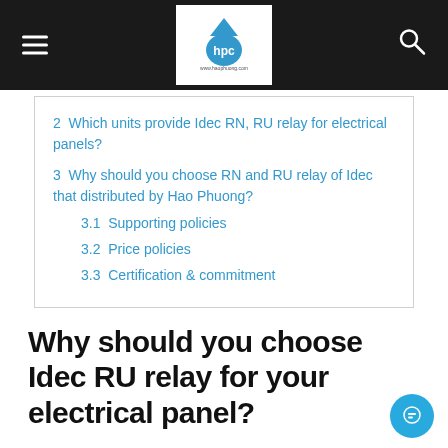hpc logo header with hamburger menu and search icon
2  Which units provide Idec RN, RU relay for electrical panels?
3  Why should you choose RN and RU relay of Idec that distributed by Hao Phuong?
3.1  Supporting policies
3.2  Price policies
3.3  Certification & commitment
Why should you choose Idec RU relay for your electrical panel?
One of the reasons that Idec RU relay is used in many electrical panels is the outstanding features such as: